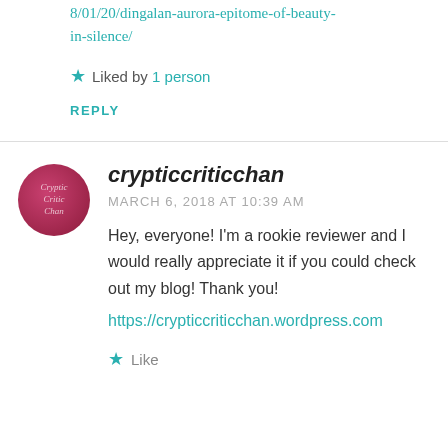8/01/20/dingalan-aurora-epitome-of-beauty-in-silence/
Liked by 1 person
REPLY
crypticcriticchan
MARCH 6, 2018 AT 10:39 AM
Hey, everyone! I'm a rookie reviewer and I would really appreciate it if you could check out my blog! Thank you!
https://crypticcriticchan.wordpress.com
Like